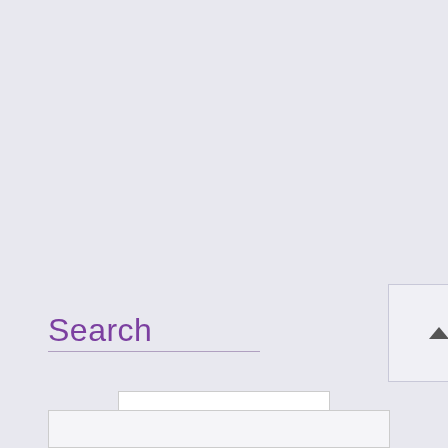Search
Privacy & Cookies Policy